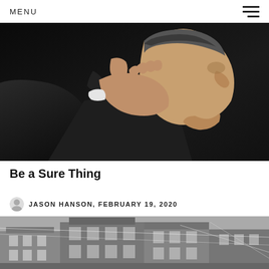MENU
[Figure (photo): Close-up photo of a man in a dark pinstripe suit, side profile, hand raised near his face/ear, with a small earpiece visible. Dark background.]
Be a Sure Thing
JASON HANSON, FEBRUARY 19, 2020
[Figure (photo): Black and white photograph of old house buildings, appears to be a damaged or historical scene with structures and wires visible.]